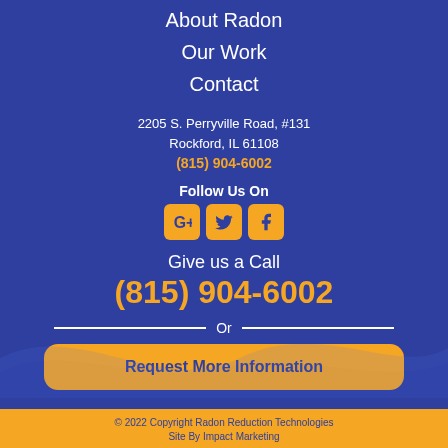About Radon
Our Work
Contact
2205 S. Perryville Road, #131
Rockford, IL 61108
(815) 904-6002
Follow Us On
[Figure (infographic): Social media icons for Google+, Twitter, and Facebook in gold on blue rounded squares]
Give us a Call
(815) 904-6002
Or
Request More Information
© 2022 Copyright Radon Reduction Technologies
Site By Impact Marketing